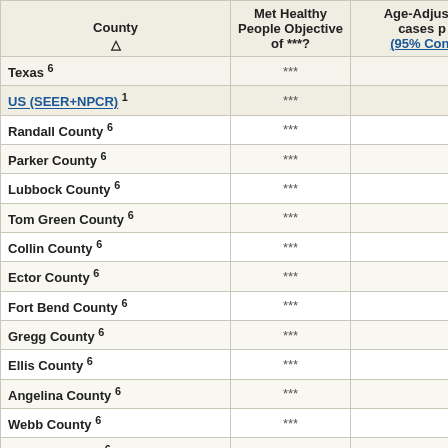| County △ | Met Healthy People Objective of ***? | Age-Adjusted cases p (95% Conf |
| --- | --- | --- |
| Texas 6 | *** | 7.2 |
| US (SEER+NPCR) 1 | *** | 7.7 |
| Randall County 6 | *** | 5.6 |
| Parker County 6 | *** | 5.8 |
| Lubbock County 6 | *** | 5.8 |
| Tom Green County 6 | *** | 6.0 |
| Collin County 6 | *** | 6.0 |
| Ector County 6 | *** | 6.1 |
| Fort Bend County 6 | *** | 6.2 |
| Gregg County 6 | *** | 6.3 |
| Ellis County 6 | *** | 6.5 |
| Angelina County 6 | *** | 6.5 ( |
| Webb County 6 | *** | 6.6 |
| Denton County 6 | *** | 6.7 |